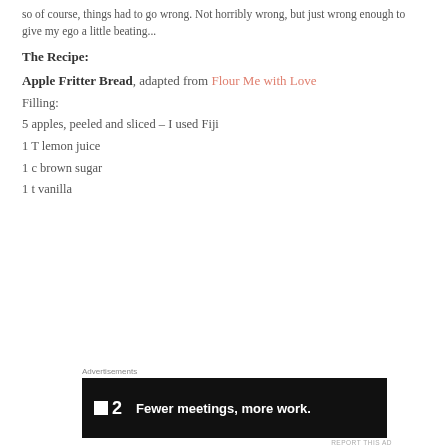so of course, things had to go wrong. Not horribly wrong, but just wrong enough to give my ego a little beating...
The Recipe:
Apple Fritter Bread, adapted from Flour Me with Love
Filling:
5 apples, peeled and sliced – I used Fiji
1 T lemon juice
1 c brown sugar
1 t vanilla
[Figure (screenshot): Advertisement banner: dark background with logo '2' and text 'Fewer meetings, more work.']